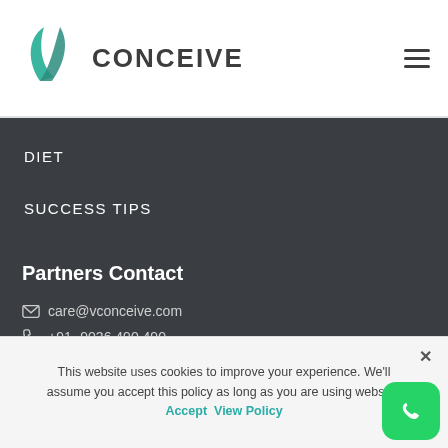CONCEIVE
DIET
SUCCESS TIPS
Partners Contact
care@vconceive.com
+91- 9036 490 490
This website uses cookies to improve your experience. We'll assume you accept this policy as long as you are using website  Accept  View Policy